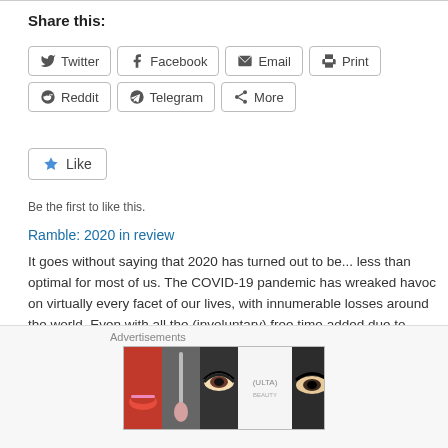Share this:
Twitter  Facebook  Email  Print  Reddit  Telegram  More
[Figure (other): Like button with star icon]
Be the first to like this.
Ramble: 2020 in review
It goes without saying that 2020 has turned out to be... less than optimal for most of us. The COVID-19 pandemic has wreaked havoc on virtually every facet of our lives, with innumerable losses around the world. Even with all the (involuntary) free time added due to local lockdown(s) and...
December 31, 2020
In "Rambles"
[Figure (photo): Advertisement banner showing Ulta Beauty cosmetics ad with close-up images of makeup and SHOP NOW text]